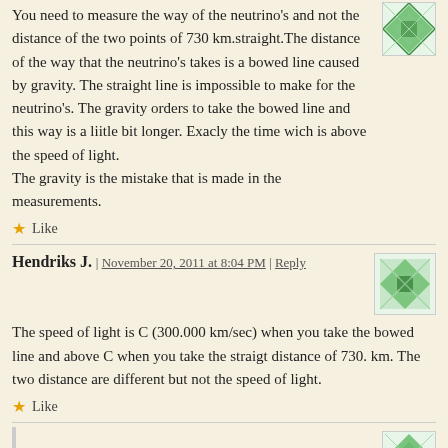You need to measure the way of the neutrino's and not the distance of the two points of 730 km.straight.The distance of the way that the neutrino's takes is a bowed line caused by gravity. The straight line is impossible to make for the neutrino's. The gravity orders to take the bowed line and this way is a liitle bit longer. Exacly the time wich is above the speed of light.
The gravity is the mistake that is made in the measurements.
Like
Hendriks J. | November 20, 2011 at 8:04 PM | Reply
The speed of light is C (300.000 km/sec) when you take the bowed line and above C when you take the straigt distance of 730. km. The two distance are different but not the speed of light.
Like
Matt Strassler | November 20, 2011 at 8:36 PM | Reply